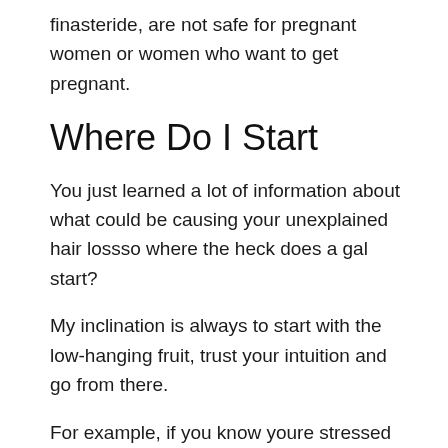finasteride, are not safe for pregnant women or women who want to get pregnant.
Where Do I Start
You just learned a lot of information about what could be causing your unexplained hair lossso where the heck does a gal start?
My inclination is always to start with the low-hanging fruit, trust your intuition and go from there.
For example, if you know youre stressed out most of the time it would be a good idea to start practicing some regular self-care.
Or, perhaps your hair loss coupled with low energy, insomnia,